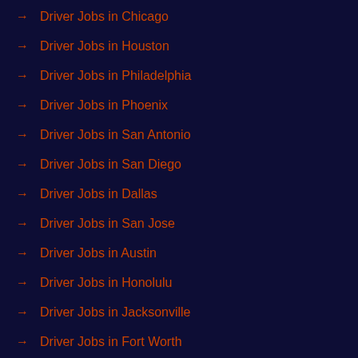Driver Jobs in Chicago
Driver Jobs in Houston
Driver Jobs in Philadelphia
Driver Jobs in Phoenix
Driver Jobs in San Antonio
Driver Jobs in San Diego
Driver Jobs in Dallas
Driver Jobs in San Jose
Driver Jobs in Austin
Driver Jobs in Honolulu
Driver Jobs in Jacksonville
Driver Jobs in Fort Worth
Driver Jobs in Columbus
Driver Jobs in Indianapolis
Driver Jobs in Charlotte
Driver Jobs in San Francisco
Driver Jobs in Detroit